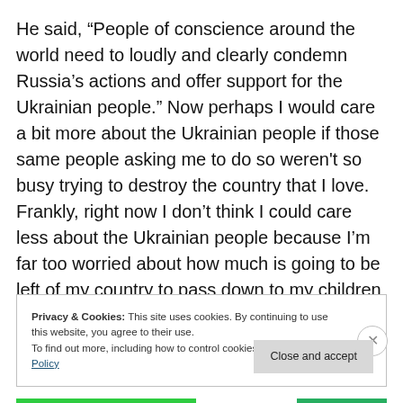He said, “People of conscience around the world need to loudly and clearly condemn Russia’s actions and offer support for the Ukrainian people.” Now perhaps I would care a bit more about the Ukrainian people if those same people asking me to do so weren’t so busy trying to destroy the country that I love. Frankly, right now I don’t think I could care less about the Ukrainian people because I’m far too worried about how much is going to be left of my country to pass down to my children and grandchildren. And if ‘BO,’ or anyone else for that matter,
Privacy & Cookies: This site uses cookies. By continuing to use this website, you agree to their use.
To find out more, including how to control cookies, see here: Cookie Policy
Close and accept